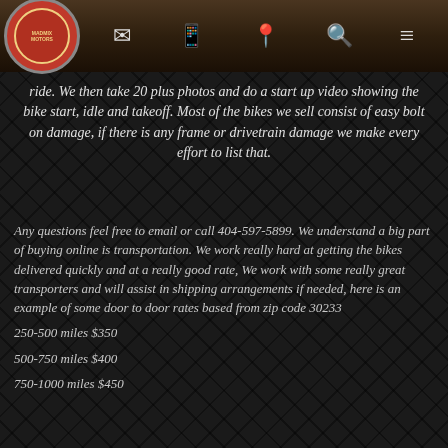Madmix Motors navigation bar
ride. We then take 20 plus photos and do a start up video showing the bike start, idle and takeoff. Most of the bikes we sell consist of easy bolt on damage, if there is any frame or drivetrain damage we make every effort to list that.
Any questions feel free to email or call 404-597-5899. We understand a big part of buying online is transportation. We work really hard at getting the bikes delivered quickly and at a really good rate, We work with some really great transporters and will assist in shipping arrangements if needed, here is an example of some door to door rates based from zip code 30233
250-500 miles $350
500-750 miles $400
750-1000 miles $450